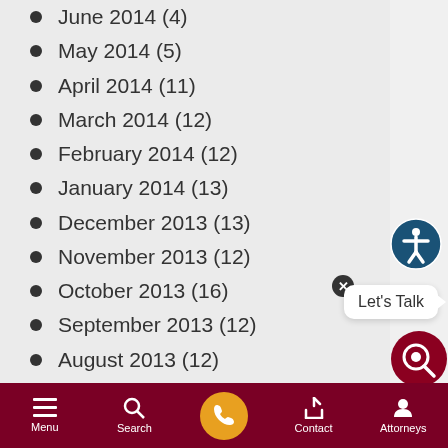June 2014 (4)
May 2014 (5)
April 2014 (11)
March 2014 (12)
February 2014 (12)
January 2014 (13)
December 2013 (13)
November 2013 (12)
October 2013 (16)
September 2013 (12)
August 2013 (12)
July 2013 (12)
June 2013 (11)
May 2013 (15)
April 2013 (12)
March 2013 (13)
February 2013 (11)
January 2013 (13)
December 2012 (14)
Menu  Search  Contact  Attorneys